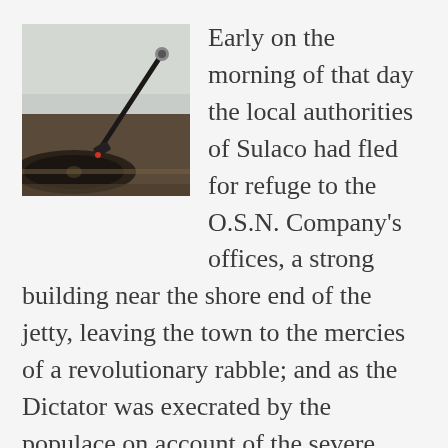[Figure (photo): Close-up photograph of a vinyl record turntable with a tonearm and stylus, in muted gray and brown tones]
Early on the morning of that day the local authorities of Sulaco had fled for refuge to the O.S.N. Company's offices, a strong building near the shore end of the jetty, leaving the town to the mercies of a revolutionary rabble; and as the Dictator was execrated by the populace on account of the severe recruitment law his necessities had compelled him to enforce during the struggle, he stood a good chance of being torn to pieces. Providentially, Nostromo—